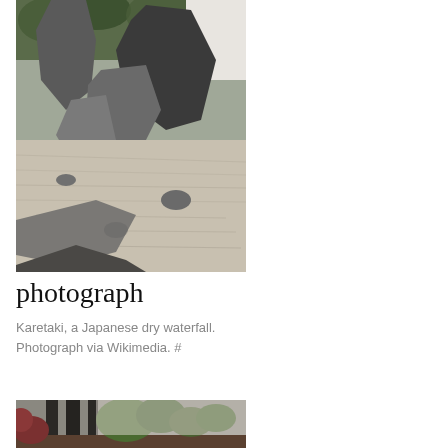[Figure (photo): Karetaki, a Japanese dry waterfall garden with large rocks and raked gravel]
photograph
Karetaki, a Japanese dry waterfall. Photograph via Wikimedia. #
[Figure (photo): Second photo of a Japanese garden with vertical stone elements and trees]